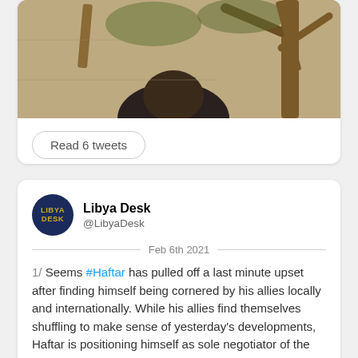[Figure (photo): Outdoor photo showing a person near trees and a stone/concrete wall in the background]
Read 6 tweets
[Figure (logo): Libya Desk circular logo with dark navy background and gold text reading LIBYA DESK]
Libya Desk
@LibyaDesk
Feb 6th 2021
1/ Seems #Haftar has pulled off a last minute upset after finding himself being cornered by his allies locally and internationally. While his allies find themselves shuffling to make sense of yesterday's developments, Haftar is positioning himself as sole negotiator of the east.